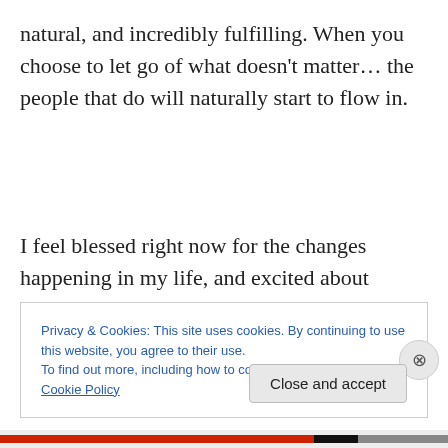natural, and incredibly fulfilling. When you choose to let go of what doesn't matter… the people that do will naturally start to flow in.
I feel blessed right now for the changes happening in my life, and excited about what's to come in the near future. I sign off today with a song that I feel is quite fitting these days – reflecting a journey from fear to awareness, from
Privacy & Cookies: This site uses cookies. By continuing to use this website, you agree to their use.
To find out more, including how to control cookies, see here: Cookie Policy